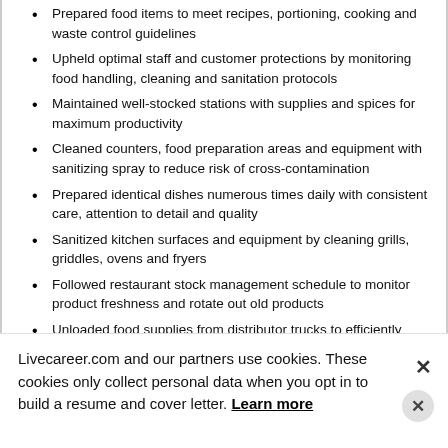Prepared food items to meet recipes, portioning, cooking and waste control guidelines
Upheld optimal staff and customer protections by monitoring food handling, cleaning and sanitation protocols
Maintained well-stocked stations with supplies and spices for maximum productivity
Cleaned counters, food preparation areas and equipment with sanitizing spray to reduce risk of cross-contamination
Prepared identical dishes numerous times daily with consistent care, attention to detail and quality
Sanitized kitchen surfaces and equipment by cleaning grills, griddles, ovens and fryers
Followed restaurant stock management schedule to monitor product freshness and rotate out old products
Unloaded food supplies from distributor trucks to efficiently organize inventory
Changed and sanitized all cutting boards, benches and surfaces between tasks to avoid cross-contamination
Prepared estimated 8 orders simultaneously during peak
Livecareer.com and our partners use cookies. These cookies only collect personal data when you opt in to build a resume and cover letter. Learn more